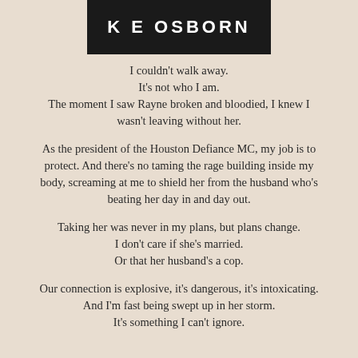[Figure (illustration): Book cover image showing author name 'K E OSBORN' in bold white letters on a dark/black background]
I couldn't walk away.
It's not who I am.
The moment I saw Rayne broken and bloodied, I knew I wasn't leaving without her.
As the president of the Houston Defiance MC, my job is to protect. And there's no taming the rage building inside my body, screaming at me to shield her from the husband who's beating her day in and day out.
Taking her was never in my plans, but plans change.
I don't care if she's married.
Or that her husband's a cop.
Our connection is explosive, it's dangerous, it's intoxicating.
And I'm fast being swept up in her storm.
It's something I can't ignore.